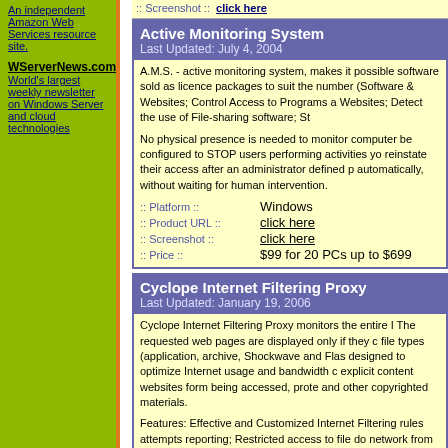An independent Amazon Web Services resource site.
WServerNews.com
World's largest weekly newsletter on Windows Server and cloud technologies
:: Screenshot ::  click here
Active Monitoring System
Last Updated: July 4, 2004
A.M.S. - active monitoring system, makes it possible software sold as licence packages to suit the number (Software & Websites; Control Access to Programs a Websites; Detect the use of File-sharing software; St
No physical presence is needed to monitor computer be configured to STOP users performing activities yo reinstate their access after an administrator defined p automatically, without waiting for human intervention.
:: Platform ::    Windows
:: Product URL ::  click here
:: Screenshot ::  click here
:: Price ::        $99 for 20 PCs up to $699
Cyclope Internet Filtering Proxy
Last Updated: January 19, 2006
Cyclope Internet Filtering Proxy monitors the entire I The requested web pages are displayed only if they c file types (application, archive, Shockwave and Flash designed to optimize Internet usage and bandwidth c explicit content websites form being accessed, prote and other copyrighted materials.
Features: Effective and Customized Internet Filtering rules attempts reporting; Restricted access to file do network from online threats; Improve internet bandwi
:: Platform ::    Windows